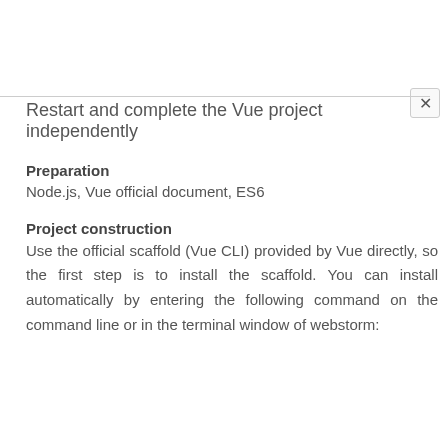Restart and complete the Vue project independently
Preparation
Node.js, Vue official document, ES6
Project construction
Use the official scaffold (Vue CLI) provided by Vue directly, so the first step is to install the scaffold. You can install automatically by entering the following command on the command line or in the terminal window of webstorm: